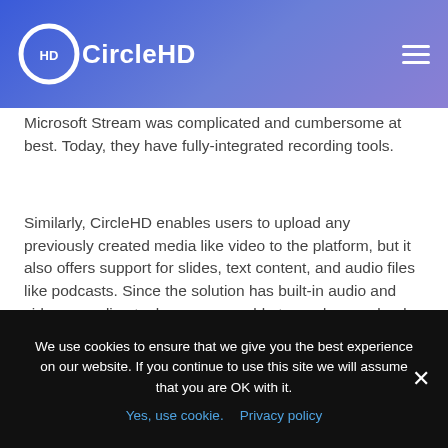CircleHD
Microsoft Stream was complicated and cumbersome at best. Today, they have fully-integrated recording tools.
Similarly, CircleHD enables users to upload any previously created media like video to the platform, but it also offers support for slides, text content, and audio files like podcasts. Since the solution has built-in audio and video recording tools, users are able to produce, upload, and share new content in a matter of minutes without the need for any extra production tools.
We use cookies to ensure that we give you the best experience on our website. If you continue to use this site we will assume that you are OK with it. Yes, use cookie. Privacy policy